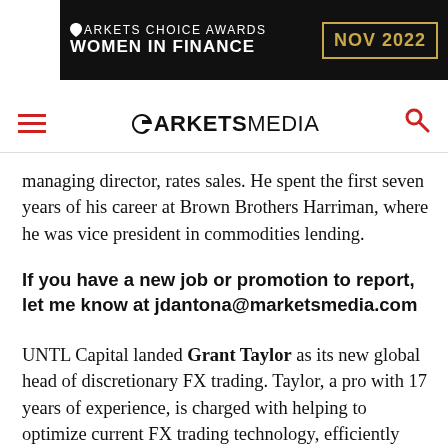[Figure (logo): Markets Choice Awards Women in Finance NOV 2022 banner ad, black background with gold border date box]
MARKETS MEDIA (navigation bar with hamburger menu and search icon)
managing director, rates sales. He spent the first seven years of his career at Brown Brothers Harriman, where he was vice president in commodities lending.
If you have a new job or promotion to report, let me know at jdantona@marketsmedia.com
UNTL Capital landed Grant Taylor as its new global head of discretionary FX trading. Taylor, a pro with 17 years of experience, is charged with helping to optimize current FX trading technology, efficiently manage